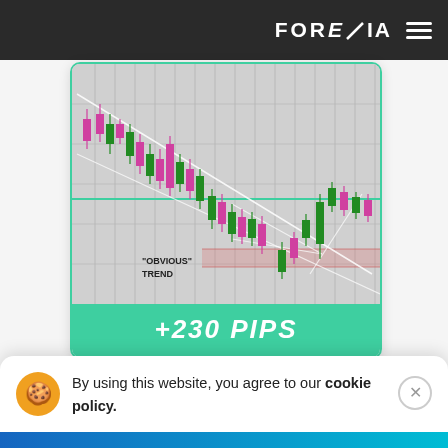FOREXIA
[Figure (screenshot): Forex candlestick chart showing a downtrend with 'OBVIOUS' TREND label and diagonal trendlines. Pink/green candles on gray grid background. Chart is annotated with white diagonal lines forming a wedge/triangle pattern. Green horizontal support line visible.]
+230 PIPS
By using this website, you agree to our cookie policy.